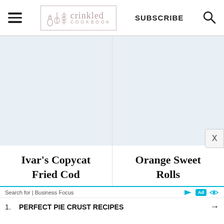[Figure (logo): Crinkled Cookbook logo with whisk, bottle, and wheat icon inside a rectangular border, with cursive 'crinkled' text above 'COOKBOOK' in spaced caps]
SUBSCRIBE
[Figure (other): Search magnifying glass icon]
Ivar's Copycat Fried Cod
Orange Sweet Rolls
Search for | Business Focus
1.   PERFECT PIE CRUST RECIPES  →